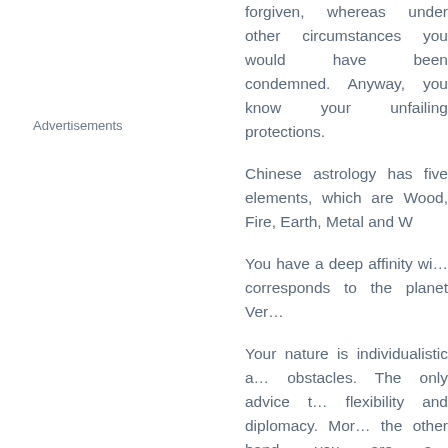Advertisements
forgiven, whereas under other circumstances you would have been condemned. Anyway, you know your protections and unfailing protections.
Chinese astrology has five elements, which are Wood, Fire, Earth, Metal and Water.
You have a deep affinity with... corresponds to the planet Venus...
Your nature is individualistic and you face obstacles. The only advice that can be given is flexibility and diplomacy. Moreover, on the other hand, you are a leader who commands admiration. You focus your opinions and viewpoints and go to conclusion, even if it means that...
Your decisions are so inflexible that intransigence may bring about... that you develop the tolerance... this price that you can achieve...